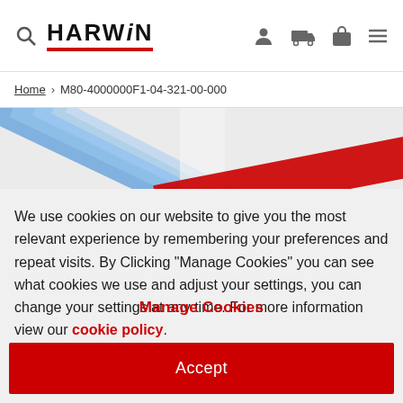HARWIN
Home > M80-4000000F1-04-321-00-000
[Figure (photo): Product banner image with blue diagonal connectors on the left and red/white striped cable connectors on the right]
We use cookies on our website to give you the most relevant experience by remembering your preferences and repeat visits. By Clicking "Manage Cookies" you can see what cookies we use and adjust your settings, you can change your settings at any time. For more information view our cookie policy.
Manage Cookies
Accept